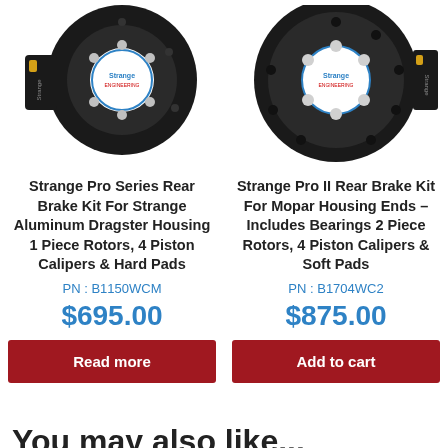[Figure (photo): Strange Pro Series Rear Brake Kit product photo showing black caliper assembly with Strange logo hub]
[Figure (photo): Strange Pro II Rear Brake Kit For Mopar Housing product photo showing black rotor assembly with Strange logo hub]
Strange Pro Series Rear Brake Kit For Strange Aluminum Dragster Housing 1 Piece Rotors, 4 Piston Calipers & Hard Pads
Strange Pro II Rear Brake Kit For Mopar Housing Ends – Includes Bearings 2 Piece Rotors, 4 Piston Calipers & Soft Pads
PN : B1150WCM
PN : B1704WC2
$695.00
$875.00
Read more
Add to cart
You may also like...